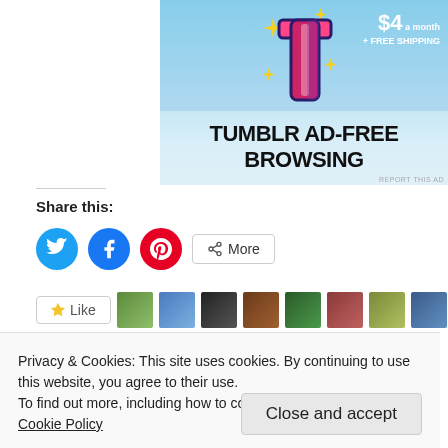[Figure (screenshot): Tumblr ad banner showing Tumblr logo with sparkles on a blue sky background, with text 'TUMBLR AD-FREE BROWSING' and a price badge showing '$4 a month + FREE SHIPPING'. A 'REPORT THIS AD' link appears at bottom right.]
Share this:
[Figure (screenshot): Share buttons: Twitter (blue circle), Facebook (blue circle), Pinterest (red circle), and a 'More' button with share icon]
[Figure (screenshot): Like button and a strip of user avatar thumbnails]
Privacy & Cookies: This site uses cookies. By continuing to use this website, you agree to their use.
To find out more, including how to control cookies, see here: Cookie Policy
Close and accept